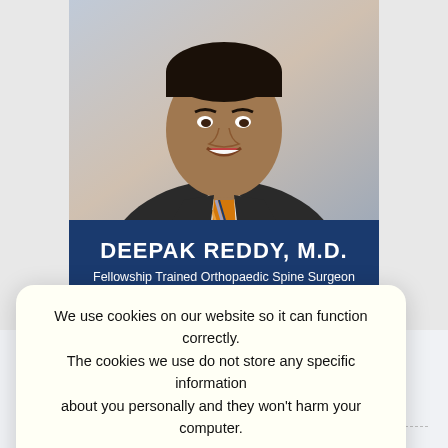[Figure (photo): Professional headshot of Dr. Deepak Reddy, a male physician wearing a dark suit and orange/blue striped tie, smiling at the camera against a blurred background.]
DEEPAK REDDY, M.D.
Fellowship Trained Orthopaedic Spine Surgeon
VIEW PROFILE
We use cookies on our website so it can function correctly. The cookies we use do not store any specific information about you personally and they won't harm your computer.
See our privacy policy for more information.
Accept